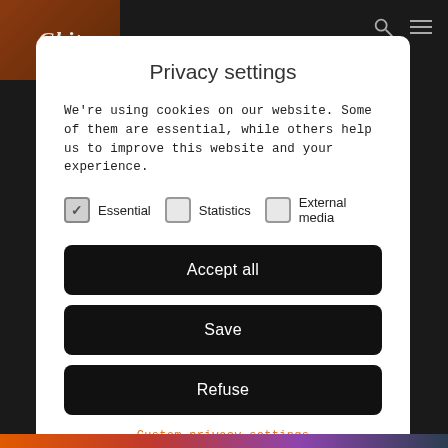[Figure (screenshot): Dark background with a logo box in the top-left (Gbit branding in brown/orange) and navigation icons top-right]
Privacy settings
We're using cookies on our website. Some of them are essential, while others help us to improve this website and your experience.
Essential (checked), Statistics (unchecked), External media (unchecked)
Accept all
Save
Refuse
Custom privacy settings
Cookie details | Privacy policy | Imprint